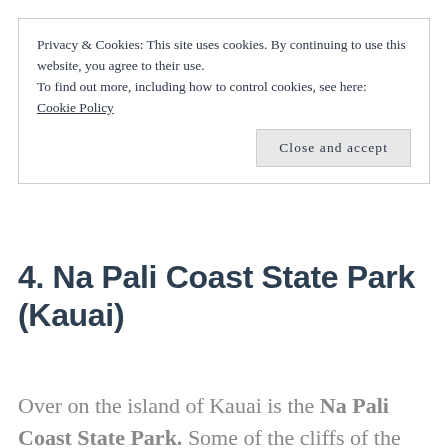Privacy & Cookies: This site uses cookies. By continuing to use this website, you agree to their use.
To find out more, including how to control cookies, see here:
Cookie Policy
Close and accept
4. Na Pali Coast State Park (Kauai)
Over on the island of Kauai is the Na Pali Coast State Park. Some of the cliffs of the